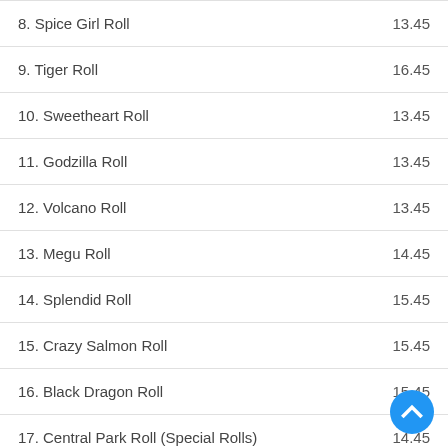| Item | Price |
| --- | --- |
| 8. Spice Girl Roll | 13.45 |
| 9. Tiger Roll | 16.45 |
| 10. Sweetheart Roll | 13.45 |
| 11. Godzilla Roll | 13.45 |
| 12. Volcano Roll | 13.45 |
| 13. Megu Roll | 14.45 |
| 14. Splendid Roll | 15.45 |
| 15. Crazy Salmon Roll | 15.45 |
| 16. Black Dragon Roll | 15.45 |
| 17. Central Park Roll (Special Rolls) | 14.45 |